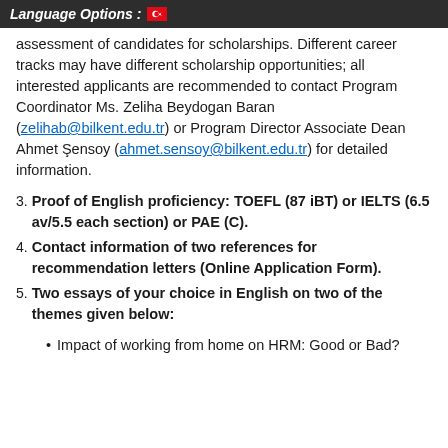Language Options :  🇹🇷
assessment of candidates for scholarships. Different career tracks may have different scholarship opportunities; all interested applicants are recommended to contact Program Coordinator Ms. Zeliha Beydogan Baran (zelihab@bilkent.edu.tr) or Program Director Associate Dean Ahmet Şensoy (ahmet.sensoy@bilkent.edu.tr) for detailed information.
3. Proof of English proficiency: TOEFL (87 iBT) or IELTS (6.5 av/5.5 each section) or PAE (C).
4. Contact information of two references for recommendation letters (Online Application Form).
5. Two essays of your choice in English on two of the themes given below:
Impact of working from home on HRM: Good or Bad?